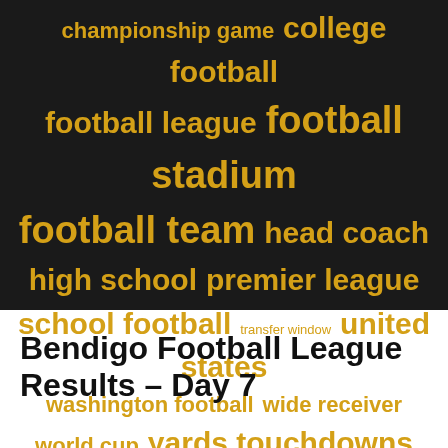[Figure (infographic): Word cloud on dark background with gold/yellow text showing football-related terms in varying font sizes: championship game, college football, football league, football stadium, football team, head coach, high school, premier league, school football, transfer window, united states, washington football, wide receiver, world cup, yards touchdowns]
Bendigo Football League Results – Day 7
byline / posted date (partially visible)